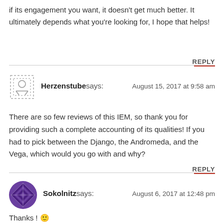if its engagement you want, it doesn't get much better. It ultimately depends what you're looking for, I hope that helps!
REPLY
Herzenstube says: August 15, 2017 at 9:58 am
There are so few reviews of this IEM, so thank you for providing such a complete accounting of its qualities! If you had to pick between the Django, the Andromeda, and the Vega, which would you go with and why?
REPLY
Sokolnitz says: August 6, 2017 at 12:48 pm
Thanks ! 🙂